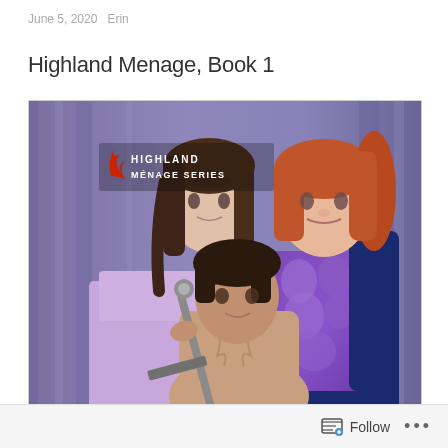June 5, 2020   Erin
Highland Menage, Book 1
[Figure (photo): Book cover for Highland Ménage Series featuring three people: two women (one with dark hair in lavender dress, one with red hair in purple and navy gown) and a shirtless man holding a sword in the foreground. Text on cover reads 'HIGHLAND MÉNAGE SERIES' with a red flame logo.]
Follow   ...